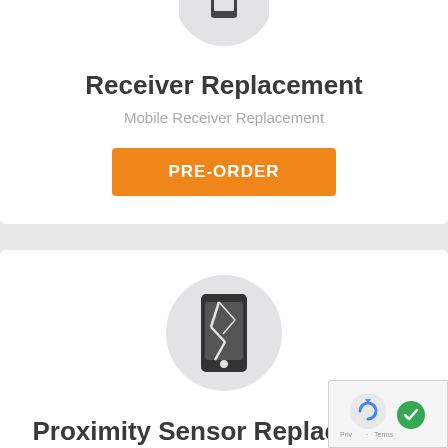[Figure (illustration): Gray circle icon with a mobile phone / receiver icon inside (partially visible at top)]
Receiver Replacement
Mobile Receiver Replacement
PRE-ORDER
[Figure (illustration): Gray circle icon with a cracked/broken smartphone screen icon inside]
Proximity Sensor Replacement
Proximity Sensor Repair or Replacement
PRE-ORDER